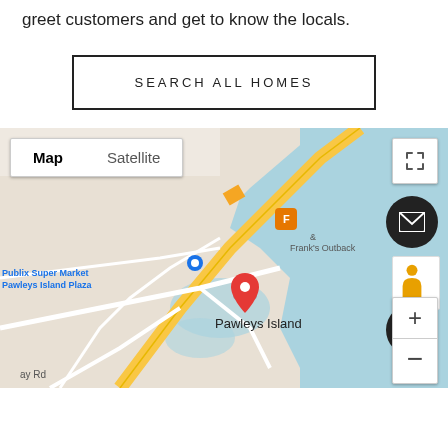greet customers and get to know the locals.
SEARCH ALL HOMES
[Figure (map): Google Map showing Pawleys Island area with location pin on Pawleys Island. Shows Publix Super Market Pawleys Island Plaza, Frank's & Frank's Outback labels, and nearby roads. Map/Satellite toggle, fullscreen button, email button, person/street view icon, phone button, and zoom controls visible.]